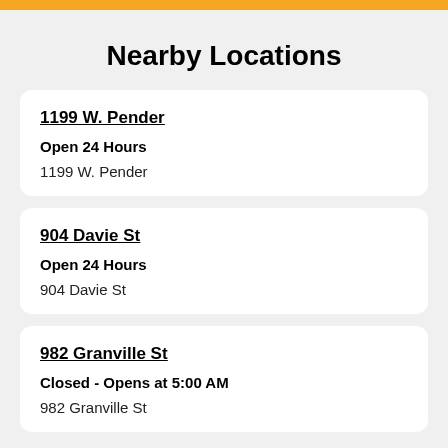Nearby Locations
1199 W. Pender
Open 24 Hours
1199 W. Pender
904 Davie St
Open 24 Hours
904 Davie St
982 Granville St
Closed - Opens at 5:00 AM
982 Granville St